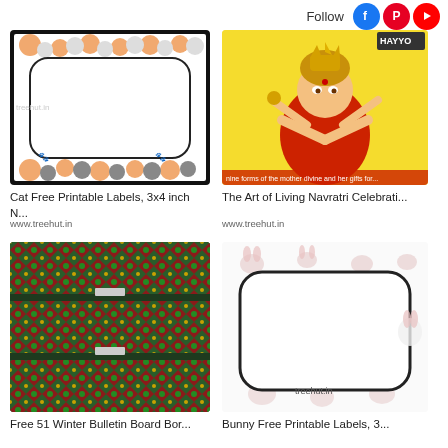Follow
[Figure (illustration): Cat Free Printable Labels thumbnail - cartoon cats border around blank label]
[Figure (illustration): The Art of Living Navratri Celebration thumbnail - cartoon goddess in red sari]
Cat Free Printable Labels, 3x4 inch N...
www.treehut.in
The Art of Living Navratri Celebrati...
www.treehut.in
[Figure (illustration): Free 51 Winter Bulletin Board Border thumbnail - green and red diamond pattern scalloped border strips]
[Figure (illustration): Bunny Free Printable Labels thumbnail - blank label with bunny illustrations]
Free 51 Winter Bulletin Board Bor...
Bunny Free Printable Labels, 3...